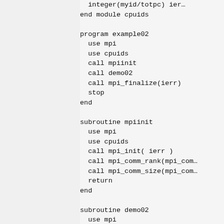integer(myid/totpc) ier...
end module cpuids

program example02
  use mpi
  use cpuids
  call mpiinit
  call demo02
  call mpi_finalize(ierr)
  stop
end

subroutine mpiinit
  use mpi
  use cpuids
  call mpi_init( ierr )
  call mpi_comm_rank(mpi_com...
  call mpi_comm_size(mpi_com...
  return
end

subroutine demo02
  use mpi
  use cpuids
  integer:: m, i
  ...